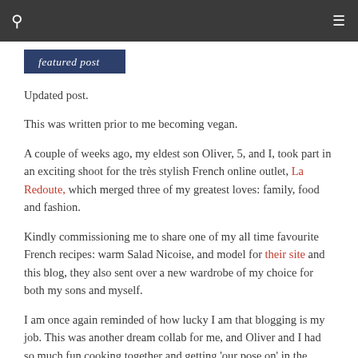featured post
Updated post.
This was written prior to me becoming vegan.
A couple of weeks ago, my eldest son Oliver, 5, and I, took part in an exciting shoot for the très stylish French online outlet, La Redoute, which merged three of my greatest loves: family, food and fashion.
Kindly commissioning me to share one of my all time favourite French recipes: warm Salad Nicoise, and model for their site and this blog, they also sent over a new wardrobe of my choice for both my sons and myself.
I am once again reminded of how lucky I am that blogging is my job. This was another dream collab for me, and Oliver and I had so much fun cooking together and getting 'our pose on' in the garden!
That morning, we made a trip to my favourite Leeds grocer, 'The